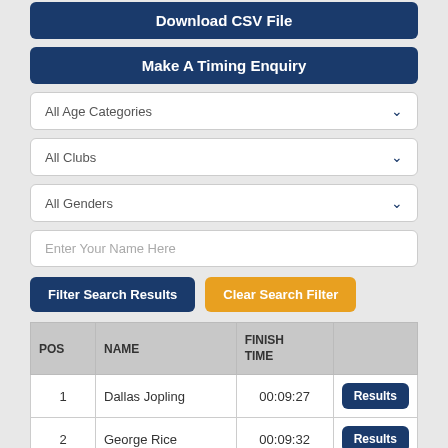Download CSV File
Make A Timing Enquiry
All Age Categories
All Clubs
All Genders
Enter Your Name Here
Filter Search Results
Clear Search Filter
| POS | NAME | FINISH TIME |  |
| --- | --- | --- | --- |
| 1 | Dallas Jopling | 00:09:27 | Results |
| 2 | George Rice | 00:09:32 | Results |